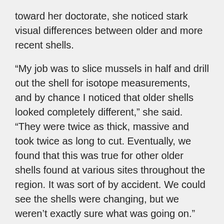toward her doctorate, she noticed stark visual differences between older and more recent shells.
“My job was to slice mussels in half and drill out the shell for isotope measurements, and by chance I noticed that older shells looked completely different,” she said. “They were twice as thick, massive and took twice as long to cut. Eventually, we found that this was true for other older shells found at various sites throughout the region. It was sort of by accident. We could see the shells were changing, but we weren’t exactly sure what was going on.”
Now, years after those initial observations, McCoy and her team have found the culprit: global climate change and its destabilizing effects on our oceans.
But according to McCoy, this is no cause for outright